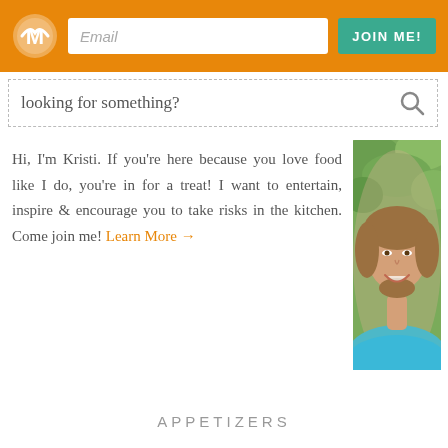Email | JOIN ME!
looking for something?
Hi, I'm Kristi. If you're here because you love food like I do, you're in for a treat! I want to entertain, inspire & encourage you to take risks in the kitchen. Come join me! Learn More →
[Figure (photo): Portrait photo of a smiling middle-aged woman with brown hair, wearing a blue top, photographed outdoors with green foliage in the background.]
APPETIZERS